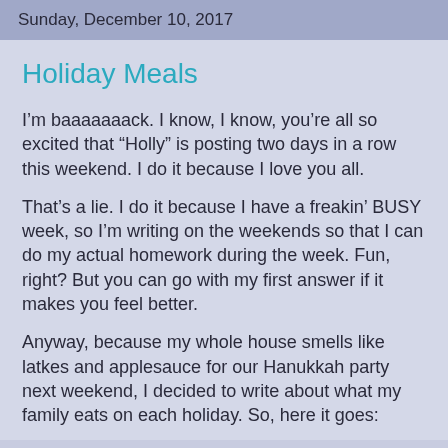Sunday, December 10, 2017
Holiday Meals
I'm baaaaaaack. I know, I know, you're all so excited that “Holly” is posting two days in a row this weekend. I do it because I love you all.
That’s a lie. I do it because I have a freakin’ BUSY week, so I’m writing on the weekends so that I can do my actual homework during the week. Fun, right? But you can go with my first answer if it makes you feel better.
Anyway, because my whole house smells like latkes and applesauce for our Hanukkah party next weekend, I decided to write about what my family eats on each holiday. So, here it goes: